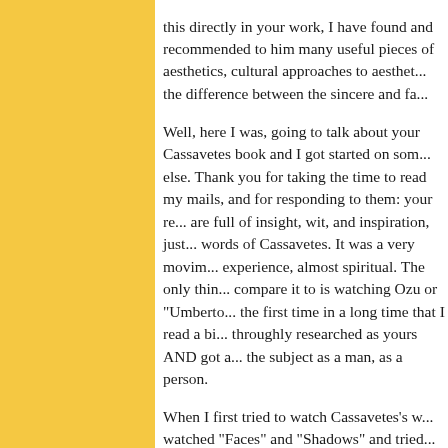this directly in your work, I have found and recommended to him many useful pieces of aesthetics, cultural approaches to aesthetics, the difference between the sincere and fa...
Well, here I was, going to talk about your Cassavetes book and I got started on something else. Thank you for taking the time to read my mails, and for responding to them: your responses are full of insight, wit, and inspiration, just like the words of Cassavetes. It was a very moving experience, almost spiritual. The only thing I can compare it to is watching Ozu or "Umberto D". It was the first time in a long time that I read a biography throughly researched as yours AND got a sense of the subject as a man, as a person.
When I first tried to watch Cassavetes's work, I watched "Faces" and "Shadows" and tried to watch "Minnie and Moskowitz" and "Killing of a Chinese Bookie". I was just out of high school. I thought Shadows was okay and I struggled through Faces-- struggled hard. After about ten or fifteen minutes I couldn't take it and turned it off. Later in the day I started it again at the point where I left off and eventually I finished the film-- five minutes...